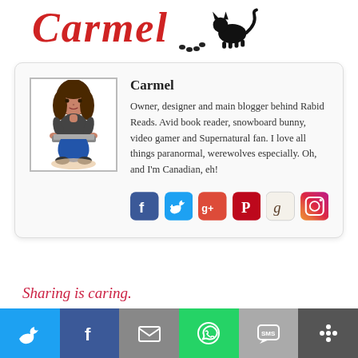[Figure (logo): Carmel script logo with cat silhouette]
[Figure (illustration): Profile card with avatar illustration of a woman sitting cross-legged with a laptop]
Carmel
Owner, designer and main blogger behind Rabid Reads. Avid book reader, snowboard bunny, video gamer and Supernatural fan. I love all things paranormal, werewolves especially. Oh, and I'm Canadian, eh!
[Figure (infographic): Social media icons: Facebook, Twitter, Google+, Pinterest, Goodreads, Instagram]
Sharing is caring.
[Figure (infographic): Share bar with Twitter, Facebook, Email, WhatsApp, SMS, and share buttons]